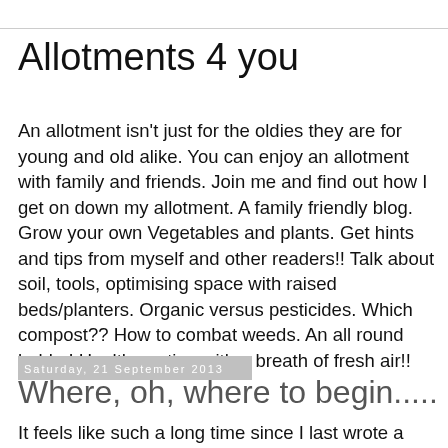Allotments 4 you
An allotment isn't just for the oldies they are for young and old alike. You can enjoy an allotment with family and friends. Join me and find out how I get on down my allotment. A family friendly blog. Grow your own Vegetables and plants. Get hints and tips from myself and other readers!! Talk about soil, tools, optimising space with raised beds/planters. Organic versus pesticides. Which compost?? How to combat weeds. An all round hobby! Healthy eating with a breath of fresh air!!
Saturday, 21 September 2013
Where, oh, where to begin.....
It feels like such a long time since I last wrote a post and I don't really think I can include my last post about the upcoming show in that  either as it was just an info post of